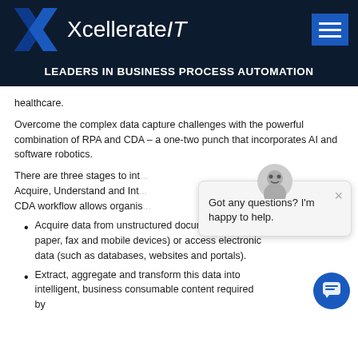[Figure (logo): XcellerateIT logo with blue X graphic and white text on dark navy header, hamburger menu button on right]
LEADERS IN BUSINESS PROCESS AUTOMATION
healthcare.
Overcome the complex data capture challenges with the powerful combination of RPA and CDA – a one-two punch that incorporates AI and software robotics.
There are three stages to int... Acquire, Understand and Int... CDA workflow allows organis...
Acquire data from unstructured documents (such as paper, fax and mobile devices) or access electronic data (such as databases, websites and portals).
Extract, aggregate and transform this data into intelligent, business consumable content required by